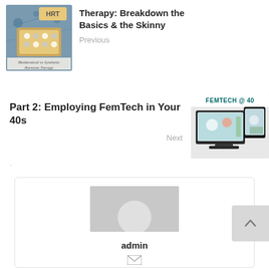[Figure (photo): Thumbnail image of HRT/Bioidentical vs Synthetic Hormone Therapy — shows pill pack labeled HRT and handwritten text]
Therapy: Breakdown the Basics & the Skinny
Previous
[Figure (photo): Thumbnail image of FemTech @ 40 showing tablet/laptop devices with health app screenshots, teal header text FEMTECH @ 40]
Part 2: Employing FemTech in Your 40s
Next
[Figure (photo): Default admin avatar — grey silhouette of a person on grey background]
admin